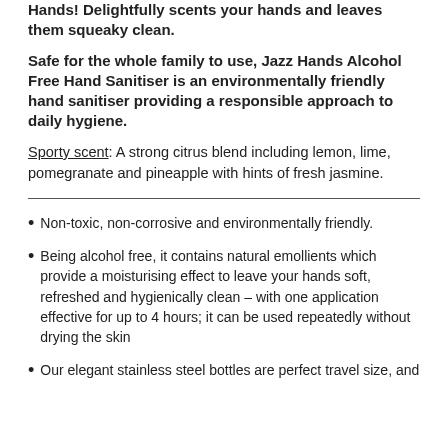Hands! Delightfully scents your hands and leaves them squeaky clean.
Safe for the whole family to use, Jazz Hands Alcohol Free Hand Sanitiser is an environmentally friendly hand sanitiser providing a responsible approach to daily hygiene.
Sporty scent: A strong citrus blend including lemon, lime, pomegranate and pineapple with hints of fresh jasmine.
Non-toxic, non-corrosive and environmentally friendly.
Being alcohol free, it contains natural emollients which provide a moisturising effect to leave your hands soft, refreshed and hygienically clean – with one application effective for up to 4 hours; it can be used repeatedly without drying the skin
Our elegant stainless steel bottles are perfect travel size, and